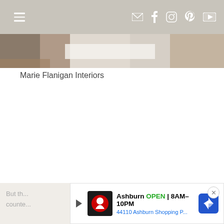Navigation bar with hamburger menu and social icons (email, facebook, instagram, pinterest, youtube)
[Figure (photo): Partial interior design photo strip showing warm beige and white tones, appears to be a bathroom or bedroom surface]
Marie Flanigan Interiors
[Figure (other): Advertisement banner: Ashburn OPEN 8AM-10PM, 44110 Ashburn Shopping P... with Wawa logo and navigation icon]
But th... counte...